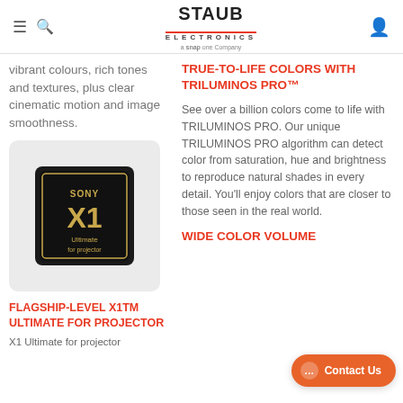STAUB ELECTRONICS a Snap one Company
vibrant colours, rich tones and textures, plus clear cinematic motion and image smoothness.
[Figure (photo): Sony X1 Ultimate for projector chip on dark background with gold text]
FLAGSHIP-LEVEL X1TM ULTIMATE FOR PROJECTOR
X1 Ultimate for projector
TRUE-TO-LIFE COLORS WITH TRILUMINOS PRO™
See over a billion colors come to life with TRILUMINOS PRO. Our unique TRILUMINOS PRO algorithm can detect color from saturation, hue and brightness to reproduce natural shades in every detail. You'll enjoy colors that are closer to those seen in the real world.
WIDE COLOR VOLUME